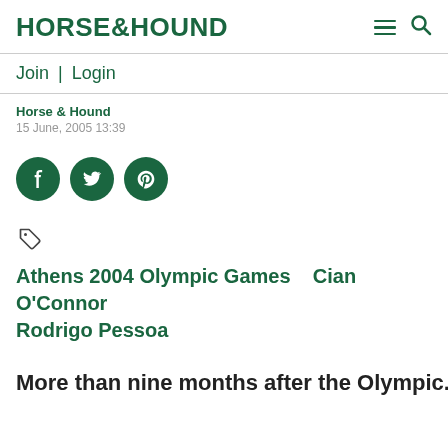HORSE&HOUND
Join | Login
Horse & Hound
15 June, 2005 13:39
[Figure (other): Social sharing icons: Facebook, Twitter, Pinterest — dark green circles with white icons]
[Figure (other): Tag/label icon]
Athens 2004 Olympic Games   Cian O'Connor
Rodrigo Pessoa
More than nine months after the Olympic...